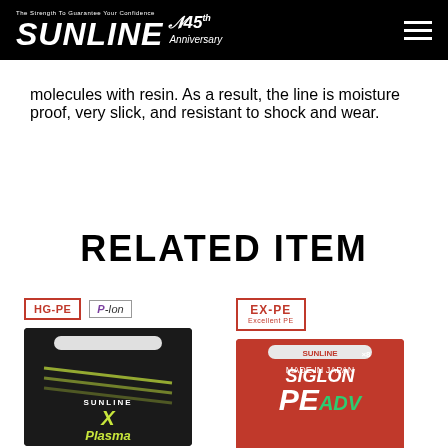SUNLINE 45th Anniversary
molecules with resin. As a result, the line is moisture proof, very slick, and resistant to shock and wear.
RELATED ITEM
[Figure (photo): HG-PE and P-Ion badge logos above Sunline Xplasma fishing line product box (dark packaging with yellow-green brand name)]
[Figure (photo): EX-PE Excellent PE badge logo above Sunline Siglon PE ADV x8 fishing line product box (red packaging)]